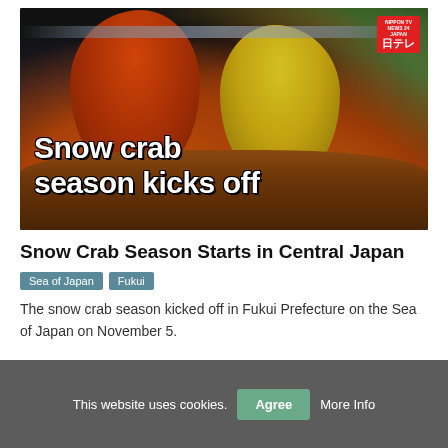[Figure (photo): Two workers in rain gear (one orange, one yellow) sorting a large pile of snow crabs on a fishing boat at night. Text overlay reads 'Snow crab season kicks off'. Nippon TV logo badge in top-right corner.]
Snow Crab Season Starts in Central Japan
Sea of Japan
Fukui
The snow crab season kicked off in Fukui Prefecture on the Sea of Japan on November 5.
This website uses cookies. Agree More Info